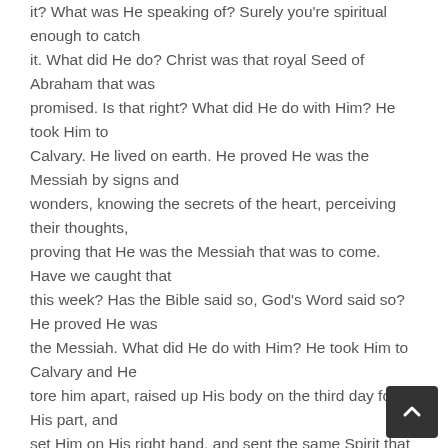it? What was He speaking of? Surely you're spiritual enough to catch it. What did He do? Christ was that royal Seed of Abraham that was promised. Is that right? What did He do with Him? He took Him to Calvary. He lived on earth. He proved He was the Messiah by signs and wonders, knowing the secrets of the heart, perceiving their thoughts, proving that He was the Messiah that was to come. Have we caught that this week? Has the Bible said so, God's Word said so? He proved He was the Messiah. What did He do with Him? He took Him to Calvary and He tore him apart, raised up His body on the third day for His part, and set Him on His right hand, and sent the same Spirit that was upon Christ down on His Church (Hallelujah.) to do the same works